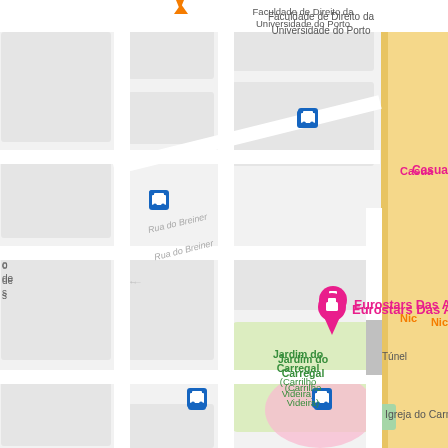[Figure (map): Google Maps screenshot showing streets of Porto, Portugal. Visible landmarks include Faculdade de Direito da Universidade do Porto, Eurostars Das Artes hotel, Jardim do Carregal (Carrilho Videira) park, Igreja do Carmo church, Museu Nacional (Soares dos Reis), and various bus stops. Streets include Rua do Breiner. Map shows city blocks, roads, a tunnel, and park areas.]